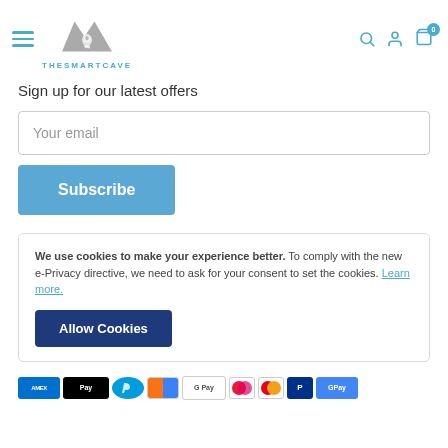[Figure (logo): TheSmartCave logo with grey mountain/M shape and lightbulb, text THESMARTCAVE in teal below]
Sign up for our latest offers
Your email
Subscribe
We use cookies to make your experience better. To comply with the new e-Privacy directive, we need to ask for your consent to set the cookies. Learn more.
Allow Cookies
[Figure (other): Payment method icons strip: Amex, Apple Pay, PayPal, stripe/mastercard, Google Pay, Maestro, Mastercard, PayPal, GPay]